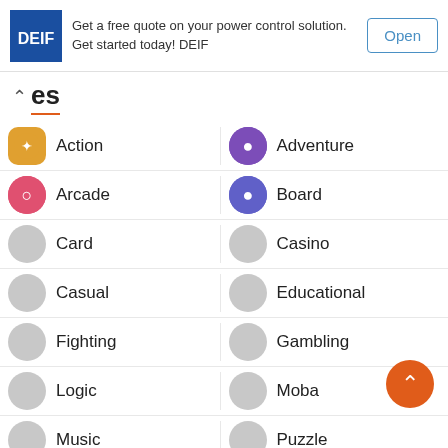[Figure (other): Ad banner for DEIF power control solutions with logo, text, and Open button]
es
Action
Adventure
Arcade
Board
Card
Casino
Casual
Educational
Fighting
Gambling
Logic
Moba
Music
Puzzle
Racing
Role Playing
RPG
Shooting games